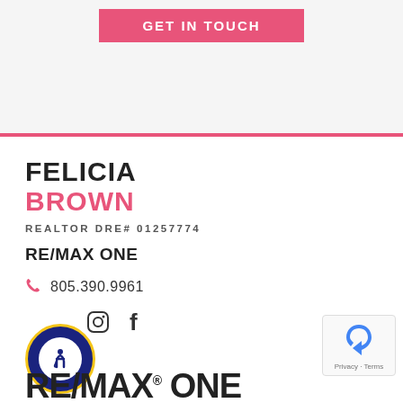[Figure (other): GET IN TOUCH pink button at top of page]
FELICIA BROWN
REALTOR DRE# 01257774
RE/MAX ONE
805.390.9961
[Figure (logo): ADA Site Compliance badge - circular blue and gold seal with wheelchair accessibility icon]
[Figure (logo): Instagram icon]
[Figure (logo): Facebook icon]
[Figure (logo): RE/MAX ONE logo text at bottom]
[Figure (logo): reCAPTCHA widget - Privacy Terms]